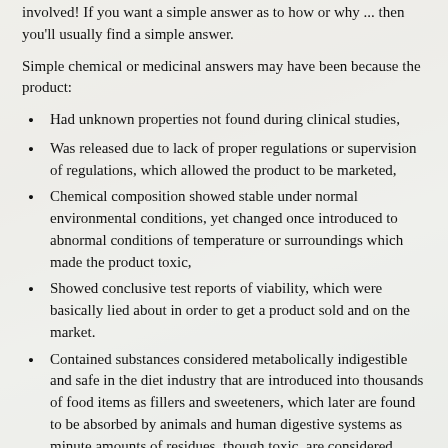involved! If you want a simple answer as to how or why ... then you'll usually find a simple answer.
Simple chemical or medicinal answers may have been because the product:
Had unknown properties not found during clinical studies,
Was released due to lack of proper regulations or supervision of regulations, which allowed the product to be marketed,
Chemical composition showed stable under normal environmental conditions, yet changed once introduced to abnormal conditions of temperature or surroundings which made the product toxic,
Showed conclusive test reports of viability, which were basically lied about in order to get a product sold and on the market.
Contained substances considered metabolically indigestible and safe in the diet industry that are introduced into thousands of food items as fillers and sweeteners, which later are found to be absorbed by animals and human digestive systems as minute amounts of residues, though toxic, are considered viable due to inconclusive testing.
Many forms of disease and chemical sensitivity are natural to humanity, but the developmental rate and number of people being diagnosed with them is not normal! To find the answers as to why